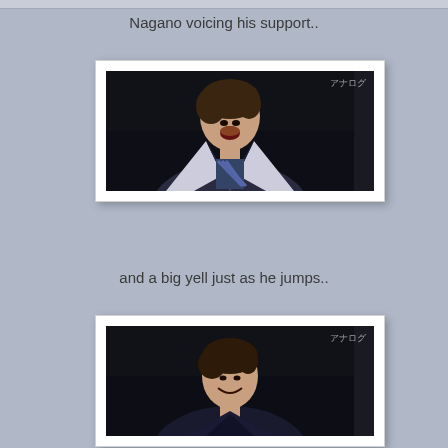Nagano voicing his support..
[Figure (photo): Japanese man in athletic jacket with mouth open yelling, TV watermark アナログ in corner]
and a big yell just as he jumps..
[Figure (photo): Same Japanese man smiling, TV watermark アナログ in corner]